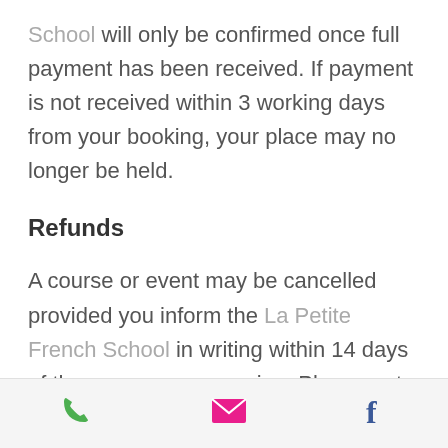School will only be confirmed once full payment has been received. If payment is not received within 3 working days from your booking, your place may no longer be held.
Refunds
A course or event may be cancelled provided you inform the La Petite French School in writing within 14 days of the course commencing. Please note there may be an administration charge of £20 for any changes made or cancellation. You
phone | email | facebook